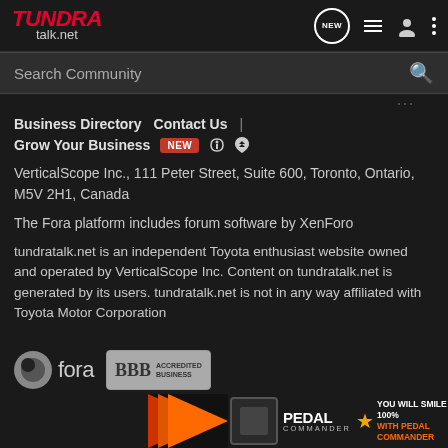TUNDRA talk.net
Search Community
Business Directory   Contact Us   |   Grow Your Business   NEW
VerticalScope Inc., 111 Peter Street, Suite 600, Toronto, Ontario, M5V 2H1, Canada
The Fora platform includes forum software by XenForo
tundratalk.net is an independent Toyota enthusiast website owned and operated by VerticalScope Inc. Content on tundratalk.net is generated by its users. tundratalk.net is not in any way affiliated with Toyota Motor Corporation
[Figure (logo): Fora logo with circle icon and BBB Accredited Business badge]
[Figure (infographic): Pedal Commander advertisement banner: orange/red arrow design, device image, PEDAL COMMANDER text, star, YOU WILL SMILE 100% WITH PEDAL COMMANDER]